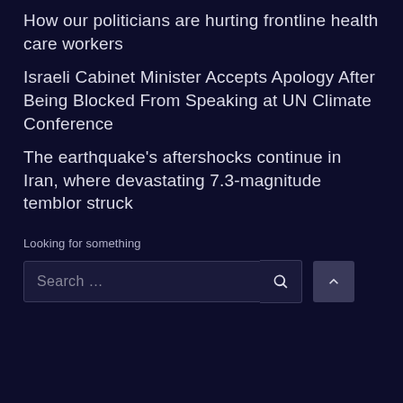How our politicians are hurting frontline health care workers
Israeli Cabinet Minister Accepts Apology After Being Blocked From Speaking at UN Climate Conference
The earthquake's aftershocks continue in Iran, where devastating 7.3-magnitude temblor struck
Looking for something
Search …